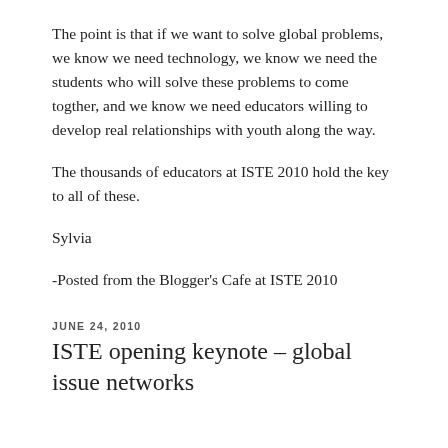The point is that if we want to solve global problems, we know we need technology, we know we need the students who will solve these problems to come togther, and we know we need educators willing to develop real relationships with youth along the way.
The thousands of educators at ISTE 2010 hold the key to all of these.
Sylvia
-Posted from the Blogger's Cafe at ISTE 2010
JUNE 24, 2010
ISTE opening keynote – global issue networks